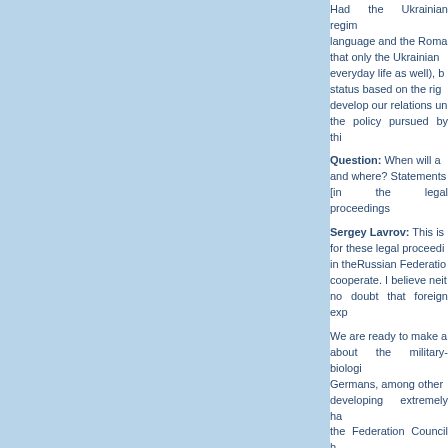Had the Ukrainian regime respected the language and the Roma... that only the Ukrainian ... everyday life as well), bu... status based on the rig... develop our relations un... the policy pursued by thi...
Question: When will a... and where? Statements ... [in the legal proceedings...
Sergey Lavrov: This is ... for these legal proceedi... in theRussian Federatio... cooperate. I believe neit... no doubt that foreign exp...
We are ready to make a... about the military-biologi... Germans, among other... developing extremely ha... the Federation Council h... part in the hearings, esp... these laboratories posse... is required. We will be j... Ukraine.
Question: You are well... time is it now inMoscow...
Sergey Lavrov: You kn... one time, it was seven m...
But if we are talking abo... well as those made on...